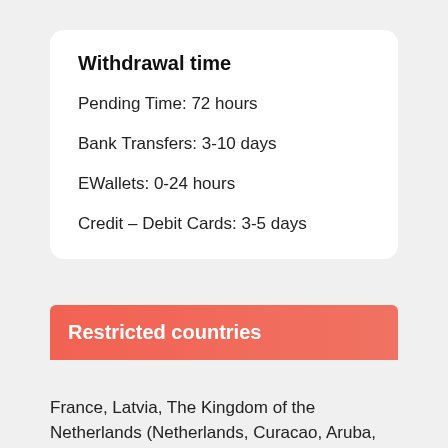Withdrawal time
Pending Time: 72 hours
Bank Transfers: 3-10 days
EWallets: 0-24 hours
Credit – Debit Cards: 3-5 days
Restricted countries
France, Latvia, The Kingdom of the Netherlands (Netherlands, Curacao, Aruba, Bonaire, Italy, Saba, Statia and